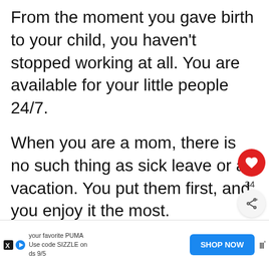From the moment you gave birth to your child, you haven't stopped working at all. You are available for your little people 24/7.
When you are a mom, there is no such thing as sick leave or a vacation. You put them first, and you enjoy it the most.
34
[Figure (other): Thumbnail portrait of a woman with blonde hair for 'What's Next' section]
WHAT'S NEXT → Forgive Me, But I Love M...
your favorite PUMA Use code SIZZLE on ds 9/5
SHOP NOW
|||°